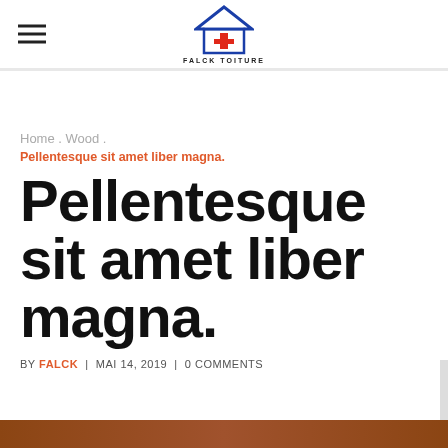FALCK TOITURE
Home . Wood .
Pellentesque sit amet liber magna.
Pellentesque sit amet liber magna.
BY FALCK | MAI 14, 2019 | 0 COMMENTS